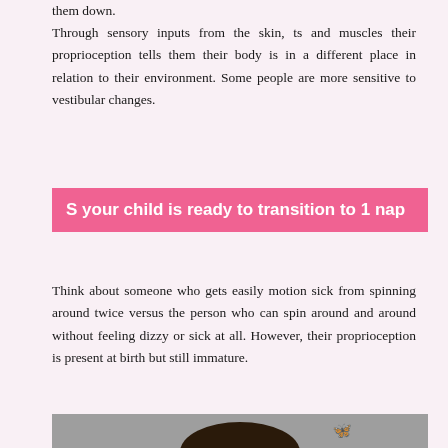them down.
Through sensory inputs from the skin, ts and muscles their proprioception tells them their body is in a different place in relation to their environment. Some people are more sensitive to vestibular changes.
S your child is ready to transition to 1 nap
Think about someone who gets easily motion sick from spinning around twice versus the person who can spin around and around without feeling dizzy or sick at all. However, their proprioception is present at birth but still immature.
[Figure (photo): Photo of a child with dark hair against a grey background with butterfly decorations]